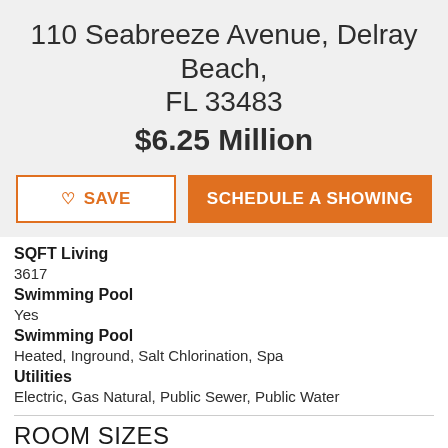110 Seabreeze Avenue, Delray Beach, FL 33483
$6.25 Million
SQFT Living
3617
Swimming Pool
Yes
Swimming Pool
Heated, Inground, Salt Chlorination, Spa
Utilities
Electric, Gas Natural, Public Sewer, Public Water
ROOM SIZES
Living Room